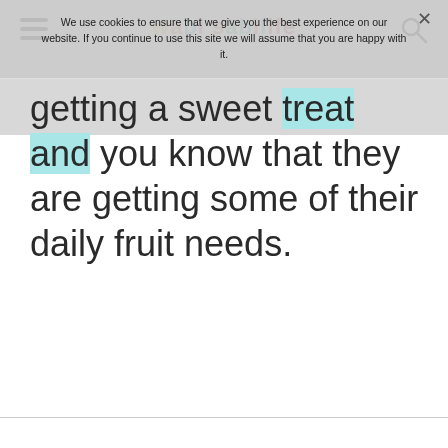wabi sabi life
We use cookies to ensure that we give you the best experience on our website. If you continue to use this site we will assume that you are happy with it.
getting a sweet treat and you know that they are getting some of their daily fruit needs.